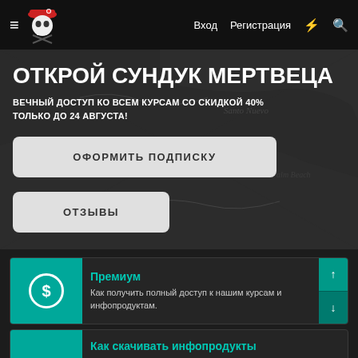≡ [pirate logo] Вход Регистрация ⚡ 🔍
ОТКРОЙ СУНДУК МЕРТВЕЦА
ВЕЧНЫЙ ДОСТУП КО ВСЕМ КУРСАМ СО СКИДКОЙ 40% ТОЛЬКО ДО 24 АВГУСТА!
ОФОРМИТЬ ПОДПИСКУ
ОТЗЫВЫ
Премиум
Как получить полный доступ к нашим курсам и инфопродуктам.
Как скачивать инфопродукты